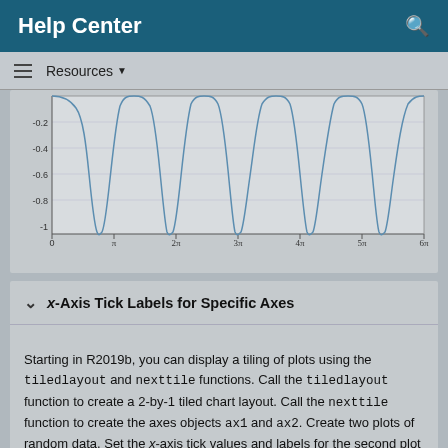Help Center
Resources
[Figure (continuous-plot): A continuous line chart showing a cosine-like waveform with values ranging from about -0.2 to -1 on the y-axis, and x-axis labeled from 0 to 6π with ticks at π, 2π, 3π, 4π, 5π, 6π. The curve shows multiple periodic dips reaching minimum near -1.]
Specify x-Axis Tick Labels for Specific Axes
Starting in R2019b, you can display a tiling of plots using the tiledlayout and nexttile functions. Call the tiledlayout function to create a 2-by-1 tiled chart layout. Call the nexttile function to create the axes objects ax1 and ax2. Create two plots of random data. Set the x-axis tick values and labels for the second plot by specifying ax2 as the first input argument.